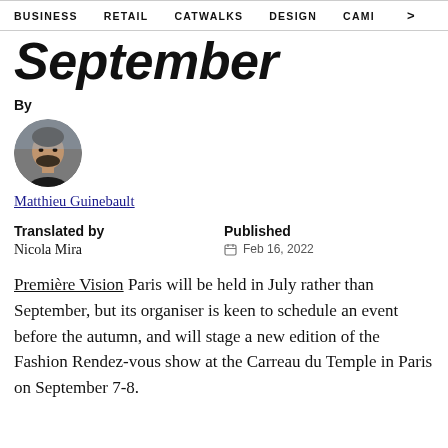BUSINESS   RETAIL   CATWALKS   DESIGN   CAMI  >
September
By
[Figure (photo): Circular headshot portrait of the author Matthieu Guinebault]
Matthieu Guinebault
Translated by
Nicola Mira

Published
Feb 16, 2022
Première Vision Paris will be held in July rather than September, but its organiser is keen to schedule an event before the autumn, and will stage a new edition of the Fashion Rendez-vous show at the Carreau du Temple in Paris on September 7-8.